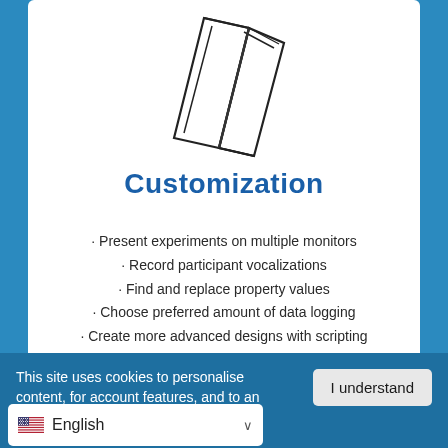[Figure (illustration): Line drawing of an open book or folder icon, shown in perspective view with geometric outlines]
Customization
Present experiments on multiple monitors
Record participant vocalizations
Find and replace property values
Choose preferred amount of data logging
Create more advanced designs with scripting
Share common experiment operations using package files
This site uses cookies to personalise content, for account features, and to an
English